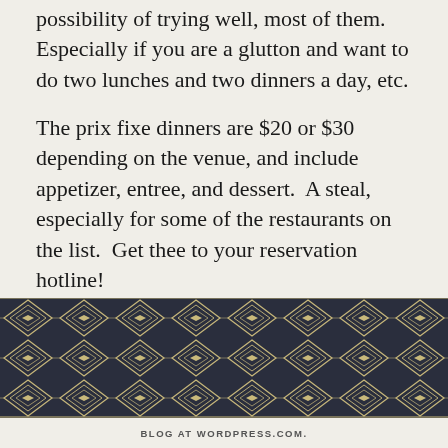possibility of trying well, most of them. Especially if you are a glutton and want to do two lunches and two dinners a day, etc.
The prix fixe dinners are $20 or $30 depending on the venue, and include appetizer, entree, and dessert.  A steal, especially for some of the restaurants on the list.  Get thee to your reservation hotline!
[Figure (illustration): Decorative art deco chevron/diamond pattern band in dark navy and cream/gold colors]
BLOG AT WORDPRESS.COM.